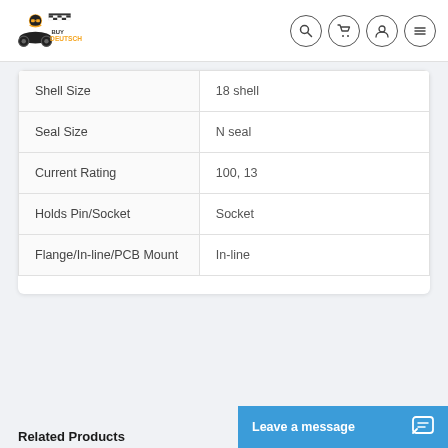BuyDeutsch - Navigation header with logo and icons
| Shell Size | 18 shell |
| Seal Size | N seal |
| Current Rating | 100, 13 |
| Holds Pin/Socket | Socket |
| Flange/In-line/PCB Mount | In-line |
Related Products
Leave a message